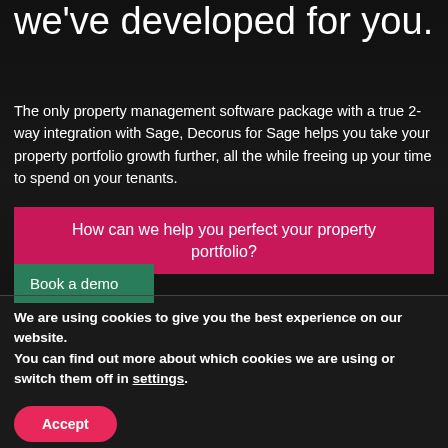we've developed for you.
The only property management software package with a true 2-way integration with Sage, Decorus for Sage helps you take your property portfolio growth further, all the while freeing up your time to spend on your tenants.
How can we help you perfect your property portfolio?
Book a demo
We are using cookies to give you the best experience on our website.
You can find out more about which cookies we are using or switch them off in settings.
Accept